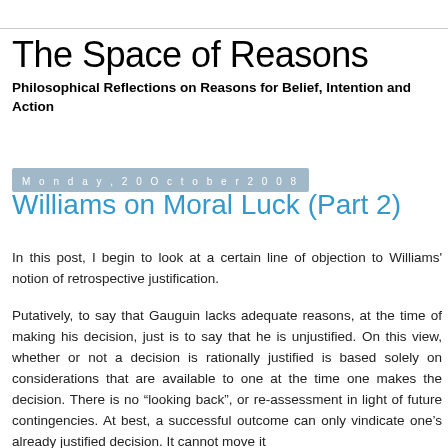The Space of Reasons
Philosophical Reflections on Reasons for Belief, Intention and Action
Monday, 20 October 2008
Williams on Moral Luck (Part 2)
In this post, I begin to look at a certain line of objection to Williams' notion of retrospective justification.
Putatively, to say that Gauguin lacks adequate reasons, at the time of making his decision, just is to say that he is unjustified. On this view, whether or not a decision is rationally justified is based solely on considerations that are available to one at the time one makes the decision. There is no “looking back”, or re-assessment in light of future contingencies. At best, a successful outcome can only vindicate one’s already justified decision. It cannot move it